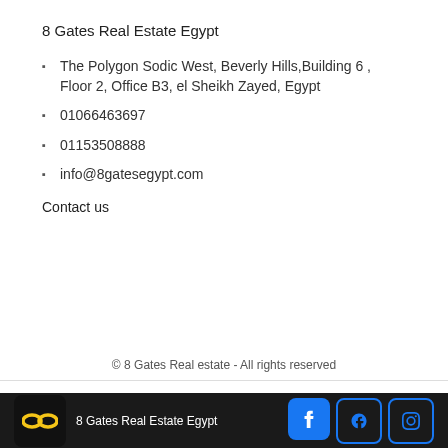8 Gates Real Estate Egypt
The Polygon Sodic West, Beverly Hills,Building 6 , Floor 2, Office B3, el Sheikh Zayed, Egypt
01066463697
01153508888
info@8gatesegypt.com
Contact us
© 8 Gates Real estate - All rights reserved
8 Gates Real Estate Egypt